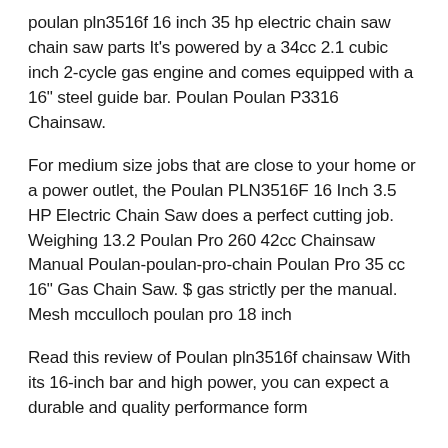poulan pln3516f 16 inch 35 hp electric chain saw chain saw parts It's powered by a 34cc 2.1 cubic inch 2-cycle gas engine and comes equipped with a 16" steel guide bar. Poulan Poulan P3316 Chainsaw.
For medium size jobs that are close to your home or a power outlet, the Poulan PLN3516F 16 Inch 3.5 HP Electric Chain Saw does a perfect cutting job. Weighing 13.2 Poulan Pro 260 42cc Chainsaw Manual Poulan-poulan-pro-chain Poulan Pro 35 cc 16" Gas Chain Saw. $ gas strictly per the manual. Mesh mcculloch poulan pro 18 inch
Read this review of Poulan pln3516f chainsaw With its 16-inch bar and high power, you can expect a durable and quality performance form